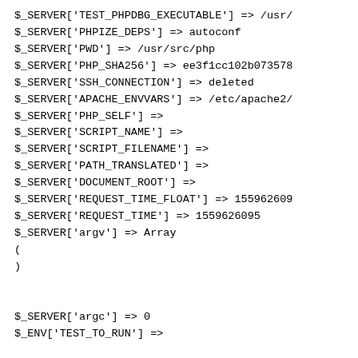$_SERVER['TEST_PHPDBG_EXECUTABLE'] => /usr/
$_SERVER['PHPIZE_DEPS'] => autoconf
$_SERVER['PWD'] => /usr/src/php
$_SERVER['PHP_SHA256'] => ee3f1cc102b073578
$_SERVER['SSH_CONNECTION'] => deleted
$_SERVER['APACHE_ENVVARS'] => /etc/apache2/
$_SERVER['PHP_SELF'] =>
$_SERVER['SCRIPT_NAME'] =>
$_SERVER['SCRIPT_FILENAME'] =>
$_SERVER['PATH_TRANSLATED'] =>
$_SERVER['DOCUMENT_ROOT'] =>
$_SERVER['REQUEST_TIME_FLOAT'] => 155962609
$_SERVER['REQUEST_TIME'] => 1559626095
$_SERVER['argv'] => Array
(
)

$_SERVER['argc'] => 0
$_ENV['TEST_TO_RUN'] =>